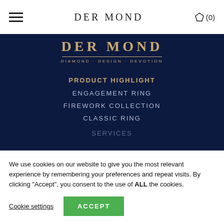DER MOND
[Figure (logo): Der Mond brand logo with text DER MOND and tagline DIAMOND · DESIGN · DEVOTION on dark blue background]
PRODUCT HIGHLIGHT
ENGAGEMENT RING
FIREWORK COLLECTION
CLASSIC RING
SERVICES (partially visible)
We use cookies on our website to give you the most relevant experience by remembering your preferences and repeat visits. By clicking “Accept”, you consent to the use of ALL the cookies.
Cookie settings  ACCEPT